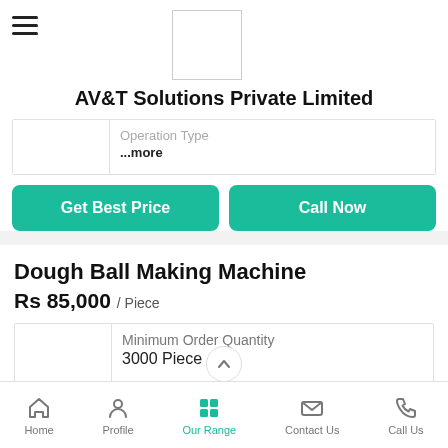[Figure (logo): Company logo placeholder box]
AV&T Solutions Private Limited
Operation Type
...more
Get Best Price
Call Now
Dough Ball Making Machine
Rs 85,000 / Piece
Minimum Order Quantity
3000 Piece
Home  Profile  Our Range  Contact Us  Call Us